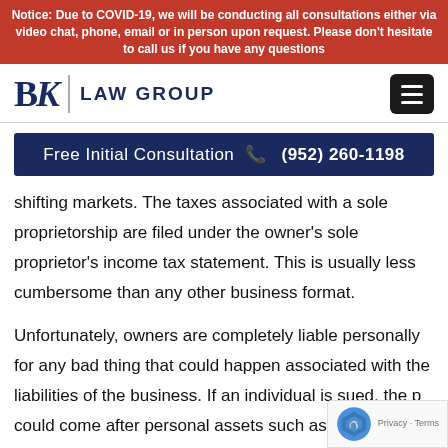Notice: Due to COVID-19, we will be conducting all consultations either via video chat, phone, email or in person upon request. Please don't hesitate to call us if you have any questions
[Figure (logo): BK Law Group logo with stylized BK letters and vertical divider, plus hamburger menu icon]
Free Initial Consultation (952) 260-1198
shifting markets. The taxes associated with a sole proprietorship are filed under the owner's sole proprietor's income tax statement. This is usually less cumbersome than any other business format.
Unfortunately, owners are completely liable personally for any bad thing that could happen associated with the liabilities of the business. If an individual is sued, the p could come after personal assets such as their home.